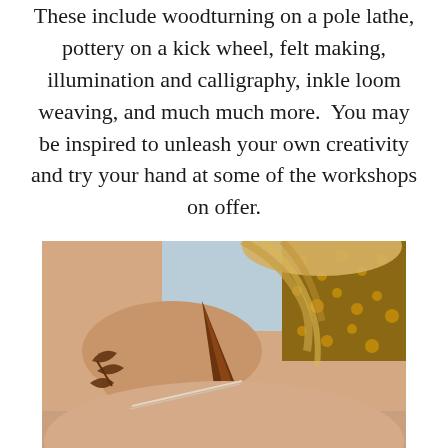These include woodturning on a pole lathe, pottery on a kick wheel, felt making, illumination and calligraphy, inkle loom weaving, and much much more.  You may be inspired to unleash your own creativity and try your hand at some of the workshops on offer.
[Figure (photo): Close-up photograph of hands applying henna/mehndi art. One hand holds a henna cone and is drawing intricate dark brown patterns on another person's hand. The person has blonde hair visible and is wearing a patterned fabric. Henna designs including floral/leaf motifs and a swirl pattern are visible on the skin.]